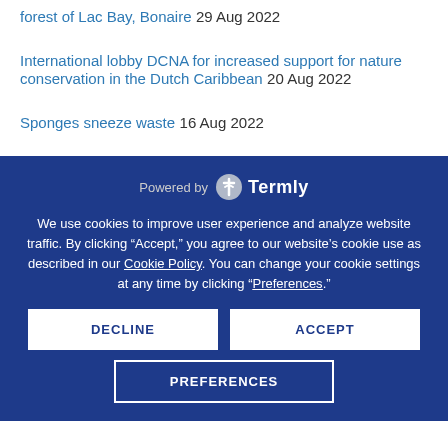forest of Lac Bay, Bonaire 29 Aug 2022
International lobby DCNA for increased support for nature conservation in the Dutch Caribbean 20 Aug 2022
Sponges sneeze waste 16 Aug 2022
Powered by Termly
We use cookies to improve user experience and analyze website traffic. By clicking “Accept,” you agree to our website’s cookie use as described in our Cookie Policy. You can change your cookie settings at any time by clicking “Preferences.”
DECLINE
ACCEPT
PREFERENCES